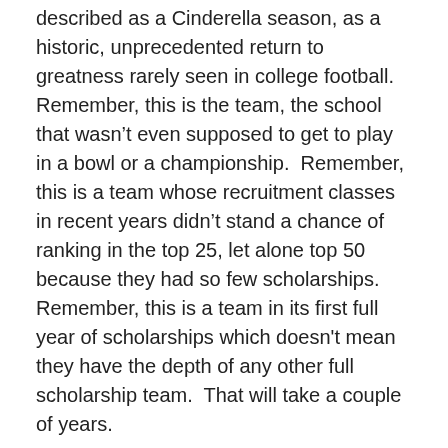described as a Cinderella season, as a historic, unprecedented return to greatness rarely seen in college football. Remember, this is the team, the school that wasn't even supposed to get to play in a bowl or a championship.  Remember, this is a team whose recruitment classes in recent years didn't stand a chance of ranking in the top 25, let alone top 50 because they had so few scholarships.  Remember, this is a team in its first full year of scholarships which doesn't mean they have the depth of any other full scholarship team.  That will take a couple of years.
The regret.  The regret is that the CFP took the easy path, the safe path and in the end, they deprived Penn State, deprived the most loyal and resilient fan base in America, deprived college football fans alike and deprived every